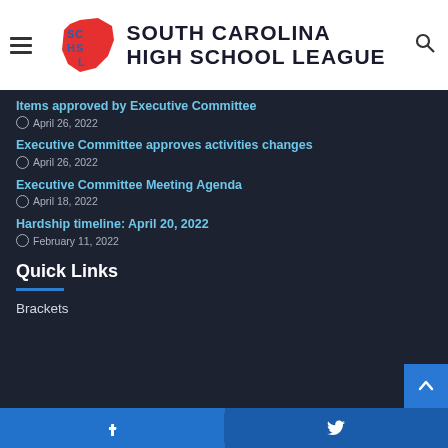[Figure (logo): South Carolina High School League logo with SCHSL letters in blue and red state outline]
Items approved by Executive Committee
April 26, 2022
Executive Committee approves activities changes
April 26, 2022
Executive Committee Meeting Agenda
April 18, 2022
Hardship timeline: April 20, 2022
February 11, 2022
Quick Links
Brackets
Facebook  Twitter